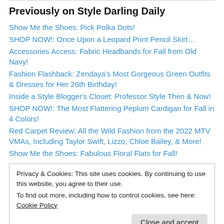Previously on Style Darling Daily
Show Me the Shoes: Pick Polka Dots!
SHOP NOW!: Once Upon a Leopard Print Pencil Skirt…
Accessories Access: Fabric Headbands for Fall from Old Navy!
Fashion Flashback: Zendaya's Most Gorgeous Green Outfits & Dresses for Her 26th Birthday!
Inside a Style Blogger's Closet: Professor Style Then & Now!
SHOP NOW!: The Most Flattering Peplum Cardigan for Fall in 4 Colors!
Red Carpet Review: All the Wild Fashion from the 2022 MTV VMAs, Including Taylor Swift, Lizzo, Chloe Bailey, & More!
Show Me the Shoes: Fabulous Floral Flats for Fall!
Privacy & Cookies: This site uses cookies. By continuing to use this website, you agree to their use.
To find out more, including how to control cookies, see here: Cookie Policy
Close and accept